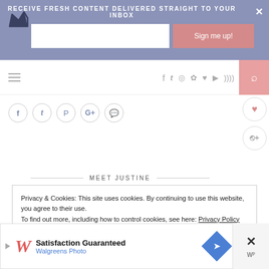RECEIVE FRESH CONTENT DELIVERED STRAIGHT TO YOUR INBOX
[Figure (screenshot): Website navigation bar with hamburger menu, social media icons (facebook, twitter, instagram, pinterest, heart, youtube, rss), and search button in pink box]
[Figure (screenshot): Social share buttons row: facebook, twitter, pinterest, google+, comment circles]
MEET JUSTINE
Privacy & Cookies: This site uses cookies. By continuing to use this website, you agree to their use.
To find out more, including how to control cookies, see here: Privacy Policy
[Figure (screenshot): Walgreens Photo advertisement banner: Satisfaction Guaranteed, Walgreens Photo, with blue diamond arrow icon]